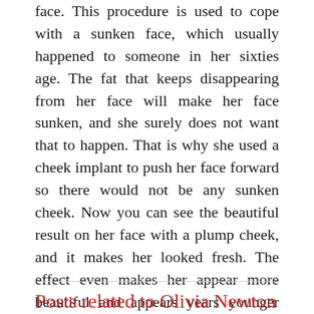face. This procedure is used to cope with a sunken face, which usually happened to someone in her sixties age. The fat that keeps disappearing from her face will make her face sunken, and she surely does not want that to happen. That is why she used a cheek implant to push her face forward so there would not be any sunken cheek. Now you can see the beautiful result on her face with a plump cheek, and it makes her looked fresh. The effect even makes her appear more beautiful and appears years younger than her real age.
Posts related to Olivia Newton